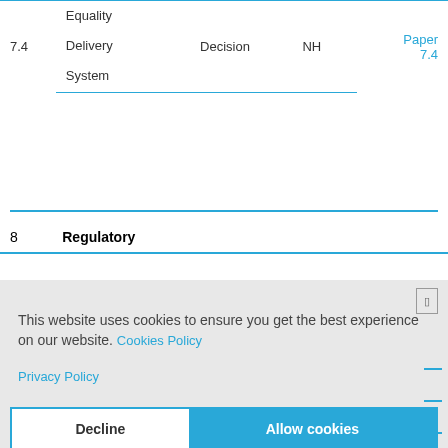| # | Title | Type | Lead | Paper |
| --- | --- | --- | --- | --- |
| 7.4 | Equality Delivery System | Decision | NH | Paper 7.4 |
8  Regulatory
This website uses cookies to ensure you get the best experience on our website. Cookies Policy Privacy Policy
9  For Information